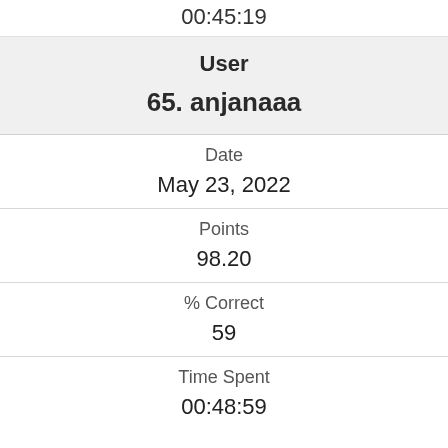00:45:19
User
65. anjanaaa
Date
May 23, 2022
Points
98.20
% Correct
59
Time Spent
00:48:59